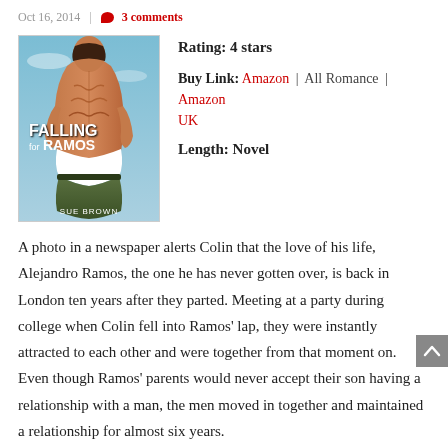Oct 16, 2014 | 3 comments
[Figure (illustration): Book cover for 'Falling for Ramos' by Sue Brown, showing a muscular man from behind against a blue sky background]
Rating: 4 stars
Buy Link: Amazon | All Romance | Amazon UK
Length: Novel
A photo in a newspaper alerts Colin that the love of his life, Alejandro Ramos, the one he has never gotten over, is back in London ten years after they parted. Meeting at a party during college when Colin fell into Ramos’ lap, they were instantly attracted to each other and were together from that moment on. Even though Ramos’ parents would never accept their son having a relationship with a man, the men moved in together and maintained a relationship for almost six years.